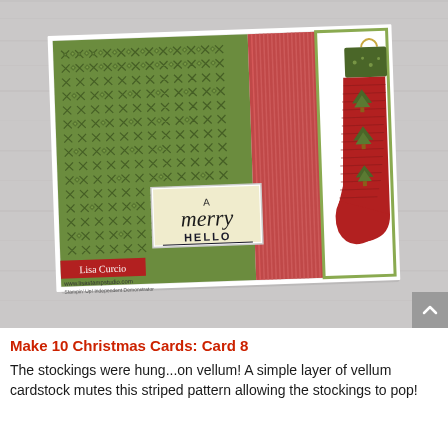[Figure (photo): A Christmas card craft project photo. The handmade card features a green geometric-patterned left half, a red striped center section, and a white panel on the right with a Christmas stocking decorated with green trees. A sentiment label reads 'A merry HELLO'. The card is displayed on a white wood-textured surface. A red label at bottom-left reads 'Lisa Curcio' with website www.lisastampstudio.com below.]
Make 10 Christmas Cards: Card 8
The stockings were hung...on vellum! A simple layer of vellum cardstock mutes this striped pattern allowing the stockings to pop!